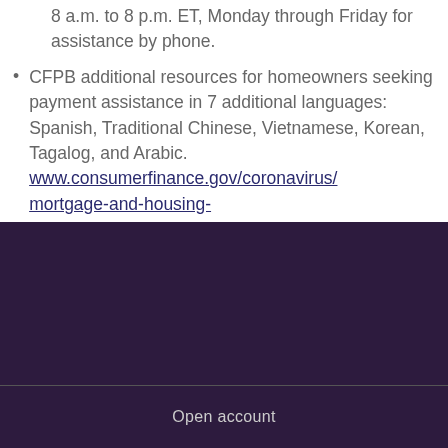8 a.m. to 8 p.m. ET, Monday through Friday for assistance by phone.
CFPB additional resources for homeowners seeking payment assistance in 7 additional languages: Spanish, Traditional Chinese, Vietnamese, Korean, Tagalog, and Arabic. www.consumerfinance.gov/coronavirus/mortgage-and-housing-assistance/help-for-homeowners/
Open account